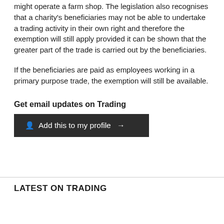might operate a farm shop. The legislation also recognises that a charity's beneficiaries may not be able to undertake a trading activity in their own right and therefore the exemption will still apply provided it can be shown that the greater part of the trade is carried out by the beneficiaries.
If the beneficiaries are paid as employees working in a primary purpose trade, the exemption will still be available.
Get email updates on Trading
[Figure (other): Dark button: person icon, 'Add this to my profile' with arrow]
LATEST ON TRADING